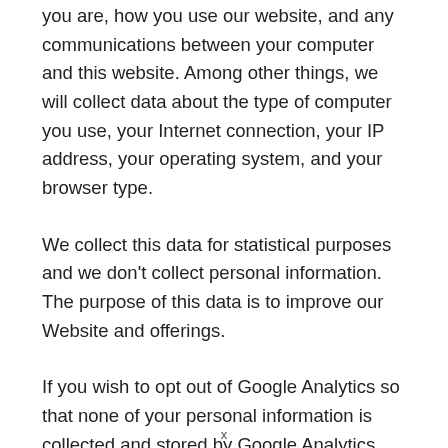you are, how you use our website, and any communications between your computer and this website. Among other things, we will collect data about the type of computer you use, your Internet connection, your IP address, your operating system, and your browser type.
We collect this data for statistical purposes and we don't collect personal information.  The purpose of this data is to improve our Website and offerings.
If you wish to opt out of Google Analytics so that none of your personal information is collected and stored by Google Analytics, you can download and install the Google Analytics Opt-out Browser Add-on here.  For
x